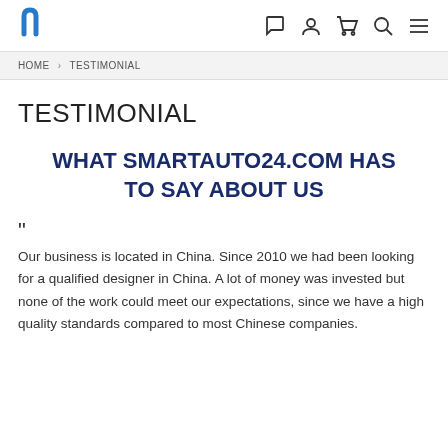Navigation header with logo and icons: chat, user, cart, search, menu
HOME > TESTIMONIAL
TESTIMONIAL
WHAT SMARTAUTO24.COM HAS TO SAY ABOUT US
"
Our business is located in China. Since 2010 we had been looking for a qualified designer in China. A lot of money was invested but none of the work could meet our expectations, since we have a high quality standards compared to most Chinese companies.